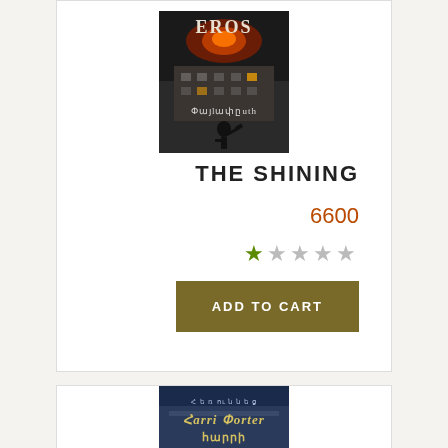[Figure (photo): Book cover of The Shining in Armenian translation - dark image with gothic text, burning building and silhouette figure with axe]
THE SHINING
6600
[Figure (other): Star rating: 1 out of 5 stars, one green filled star and four grey stars]
ADD TO CART
[Figure (photo): Book cover of Harry Potter in Armenian - blue toned image with Harry Potter Armenian title text]